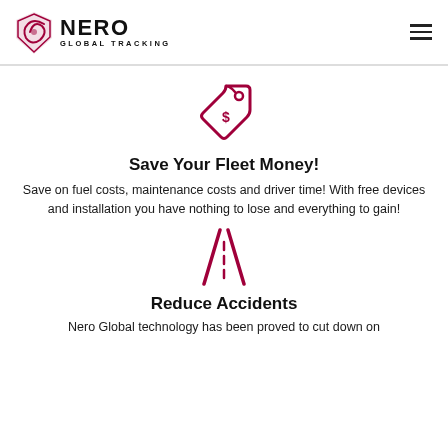NERO GLOBAL TRACKING
[Figure (illustration): Pink/crimson price tag icon with dollar sign]
Save Your Fleet Money!
Save on fuel costs, maintenance costs and driver time! With free devices and installation you have nothing to lose and everything to gain!
[Figure (illustration): Pink/crimson road icon showing two converging lines with dashes]
Reduce Accidents
Nero Global technology has been proved to cut down on